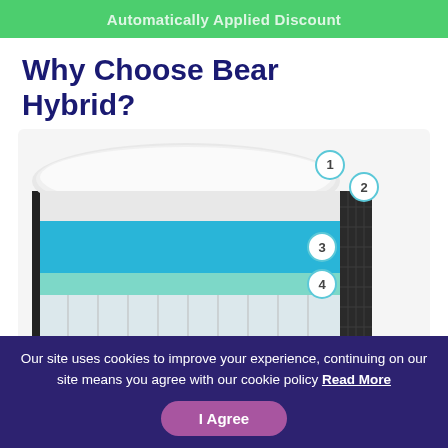[Figure (illustration): Green banner bar with partially visible white text]
Why Choose Bear Hybrid?
[Figure (engineering-diagram): Cross-section cutaway diagram of the Bear Hybrid mattress showing 5 labeled layers: 1 (top cover/pillow top), 2 (comfort layer below cover), 3 (blue foam layer), 4 (teal/light blue transition foam layer), 5 (coil/spring support layer). The right side shows a dark charcoal quilted fabric edge.]
Our site uses cookies to improve your experience, continuing on our site means you agree with our cookie policy Read More
I Agree